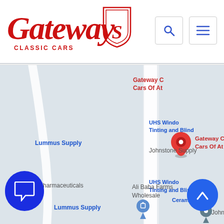[Figure (logo): Gateway Classic Cars logo in red script with shield emblem]
[Figure (map): Google Maps screenshot showing Gateway Classic Cars Of Atlanta location on McGinnis Ferry Rd, Alpharetta GA, with nearby businesses: Lummus Supply, Johnstone Supply, Acella Pharmaceuticals, Ali Baba Farms Wholesale, UHS Window Tinting and Blinds, Ceramic Te[...]. Red map pin marks Gateway location.]
870 McFarland Parkway
Suite 300
Alpharetta, GA  30005